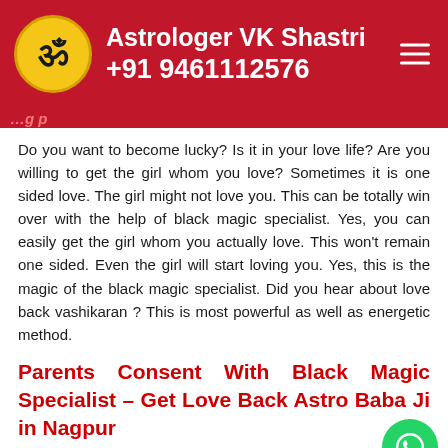Astrologer VK Shastri +91 9461112576
Do you want to become lucky? Is it in your love life? Are you willing to get the girl whom you love? Sometimes it is one sided love. The girl might not love you. This can be totally win over with the help of black magic specialist. Yes, you can easily get the girl whom you actually love. This won't remain one sided. Even the girl will start loving you. Yes, this is the magic of the black magic specialist. Did you hear about love back vashikaran ? This is most powerful as well as energetic method.
Parents Consent With Black Magic Specialist – Get Love Back Astro Baba Ji in Nagpur
Most parents are dead against the love relationship. They